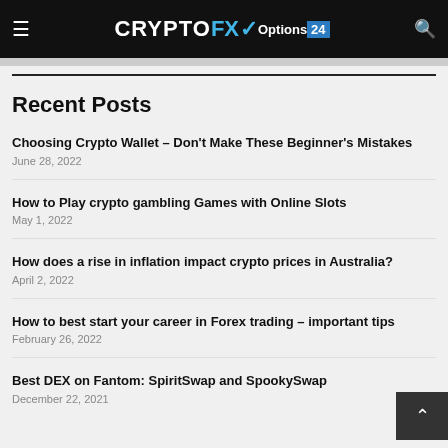CRYPTOFXOptions24
Recent Posts
Choosing Crypto Wallet – Don't Make These Beginner's Mistakes
June 28, 2022
How to Play crypto gambling Games with Online Slots
May 1, 2022
How does a rise in inflation impact crypto prices in Australia?
April 2, 2022
How to best start your career in Forex trading – important tips
February 26, 2022
Best DEX on Fantom: SpiritSwap and SpookySwap
December 22, 2021